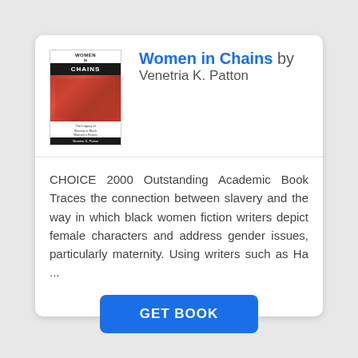[Figure (photo): Book cover of 'Women in Chains' showing a red-toned image with title in dark bar]
Women in Chains by Venetria K. Patton
CHOICE 2000 Outstanding Academic Book Traces the connection between slavery and the way in which black women fiction writers depict female characters and address gender issues, particularly maternity. Using writers such as Ha ...
GET BOOK